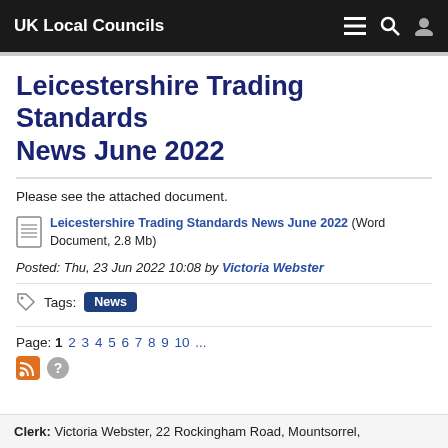UK Local Councils
Leicestershire Trading Standards News June 2022
Please see the attached document.
Leicestershire Trading Standards News June 2022 (Word Document, 2.8 Mb)
Posted: Thu, 23 Jun 2022 10:08 by Victoria Webster
Tags: News
Page: 1 2 3 4 5 6 7 8 9 10 ...
Clerk: Victoria Webster, 22 Rockingham Road, Mountsorrel,